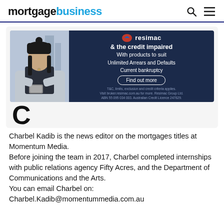mortgage business
[Figure (photo): Resimac advertisement banner featuring a woman in a winter hat looking at her phone on the left, and on the right a dark navy panel with Resimac logo, text '& the credit impaired With products to suit Unlimited Arrears and Defaults Current bankruptcy' and a 'Find out more' button, with disclaimer text at the bottom.]
C
Charbel Kadib is the news editor on the mortgages titles at Momentum Media.
Before joining the team in 2017, Charbel completed internships with public relations agency Fifty Acres, and the Department of Communications and the Arts.
You can email Charbel on:
Charbel.Kadib@momentummedia.com.au